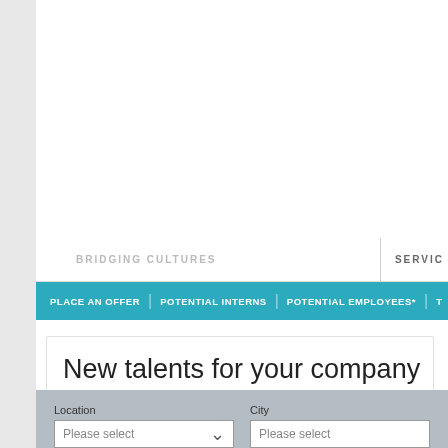BRIDGING CULTURES | SERVIC
PLACE AN OFFER | POTENTIAL INTERNS | POTENTIAL EMPLOYEES* | T
New talents for your company
You are looking for the best employees for your company? In the KOPRA applicants' database you will find many interesting profiles of job-seekers focused on China, Japan, Korea and other regions in Asia. Please insert your search criteria below to find your future employee!
Location
Please select
City
Please select